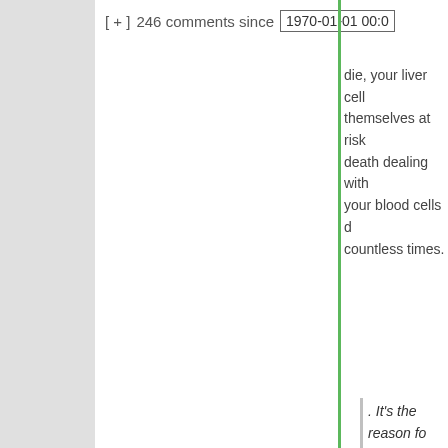[ + ]  246 comments since  1970-01-01 00:0
die, your liver cells themselves at risk death dealing with your blood cells d countless times.
. It's the reason for every single one of our observed behaviors
So when two guys over a mate riskin and death surviva reason? When pe